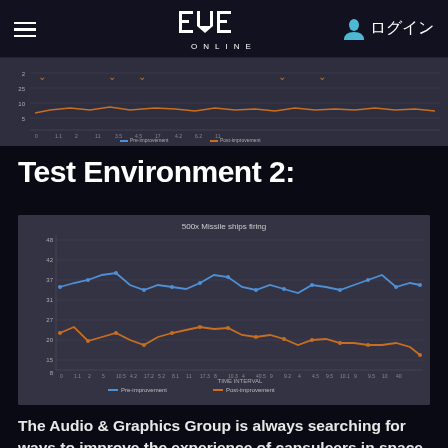EVE ONLINE — ログイン
[Figure (line-chart): Partial line chart showing performance measurements over time intervals, with blue and orange lines and chevron markers. Title and legend partially visible.]
Test Environment 2:
[Figure (line-chart): Line chart with two series (blue and orange lines) plotting frame time or performance metric over time axis. Blue line ranges roughly 35-45, orange line ranges roughly 15-25. X-axis shows time intervals.]
The Audio & Graphics Group is always searching for ways to improve the experience of capsuleers in space, and this work is only one of the projects